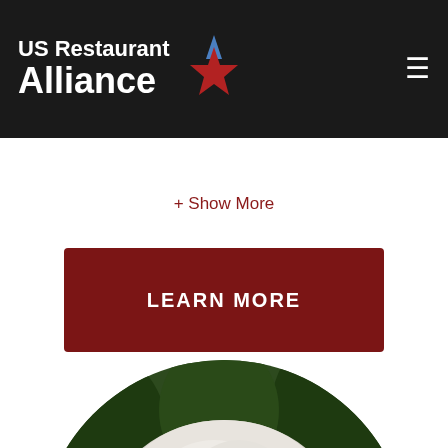US Restaurant Alliance
various food service departments of both general ... an average annual ... then, Mr. Matthew ... into cured companies
+ Show More
LEARN MORE
[Figure (photo): Circular cropped headshot photo of an older man with white/silver hair, smiling slightly, with green foliage in the background.]